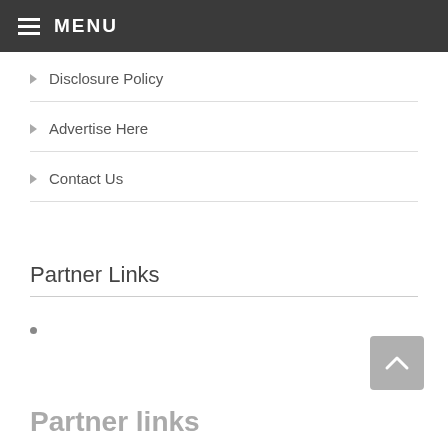MENU
Disclosure Policy
Advertise Here
Contact Us
Partner Links
Partner links